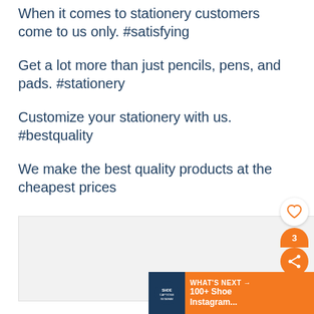When it comes to stationery customers come to us only. #satisfying
Get a lot more than just pencils, pens, and pads. #stationery
Customize your stationery with us. #bestquality
We make the best quality products at the cheapest prices
[Figure (screenshot): Gray placeholder image box at bottom of page]
[Figure (infographic): UI overlay: heart button, share count bubble with 3, orange share icon, and orange What's Next banner showing '100+ Shoe Instagram...' with a dark blue logo thumbnail]